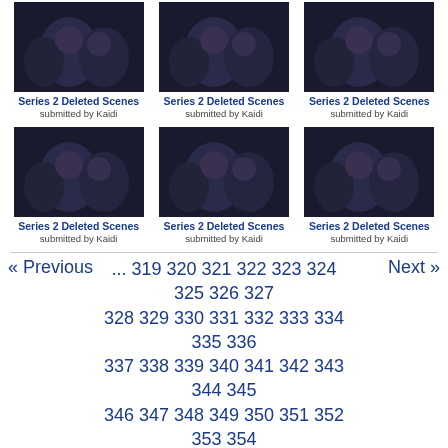[Figure (screenshot): Three video thumbnails in a row, each showing a dark scene with people, labeled 'Series 2 Deleted Scenes submitted by Kaidi']
[Figure (screenshot): Three more video thumbnails in a row, same dark scene content, labeled 'Series 2 Deleted Scenes submitted by Kaidi']
« Previous ... 319 320 321 322 323 324 325 326 327 328 329 330 331 332 333 334 335 336 337 338 339 340 341 342 343 344 345 346 347 348 349 350 351 352 353 354 355 356 357 358 359 360 361 362 363 364 365 366 367 368 369 370 371 372 373 374 375 376 377 378 379 380 381 382 383 384 385 386 387 388 389 390 391 392 393 394 395 396 397 398 399 400 401 402 403 404 405 406 407 408 409 410 411 412 413 414 415 416 417 418 419 420 421 422 423 424 425 426 427 428 429 430 431 432 433 434 435 436 437 438 439 440 441 442 443 444 445 446 447 448 449 450 451 452 453 454 Next »